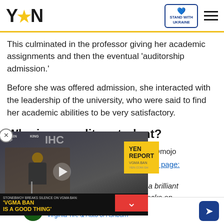YEN — STAND WITH UKRAINE
This culminated in the professor giving her academic assignments and then the eventual 'auditorship admission.'
Before she was offered admission, she interacted with the leadership of the university, who were said to find her academic abilities to be very satisfactory.
Who is an auditor student?
[Figure (screenshot): Video overlay popup showing a news report. YEN REPORT badge visible. Shows a person at a microphone. Caption: STONEBWOY BREAKS SILENCE ON VGMA BAN: 'VGMA BAN IS A GOOD THING'. Close (X) button at top left. Chevron/down arrow button in red.]
hool, Professor Paul Omojo the school's Facebook page:
tted that Jessica is a brilliant ng when further checks on rigours of being a
Goodyear Tire Promotion — Virginia Tire & Auto of Ashburn